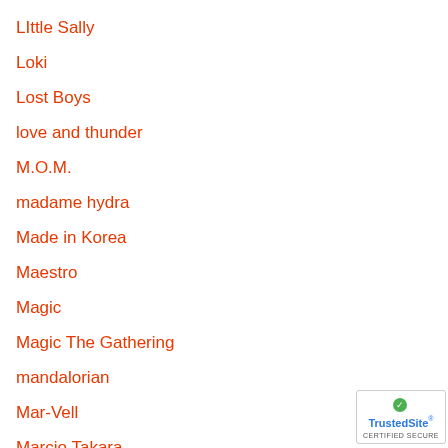LIttle Sally
Loki
Lost Boys
love and thunder
M.O.M.
madame hydra
Made in Korea
Maestro
Magic
Magic The Gathering
mandalorian
Mar-Vell
Marcio Takara
Marguerito Bonnott